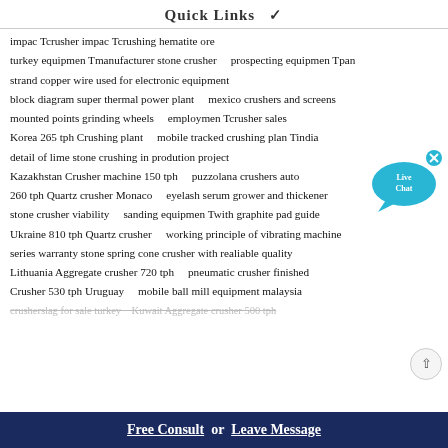Quick Links
impac Tcrusher impac Tcrushing hematite ore
turkey equipmen Tmanufacturer stone crusher    prospecting equipmen Tpan
strand copper wire used for electronic equipment
block diagram super thermal power plant    mexico crushers and screens
mounted points grinding wheels    employmen Tcrusher sales
Korea 265 tph Crushing plant    mobile tracked crushing plan Tindia
detail of lime stone crushing in prodution project
Kazakhstan Crusher machine 150 tph    puzzolana crushers auto
260 tph Quartz crusher Monaco    eyelash serum grower and thickener
stone crusher viability    sanding equipmen Twith graphite pad guide
Ukraine 810 tph Quartz crusher    working principle of vibrating machine
series warranty stone spring cone crusher with realiable quality
Lithuania Aggregate crusher 720 tph    pneumatic crusher finished
Crusher 530 tph Uruguay    mobile ball mill equipment malaysia
crusherslag for sale turkey    Kuwait Aggregate crusher 500 tph
Free Consult or Leave Message